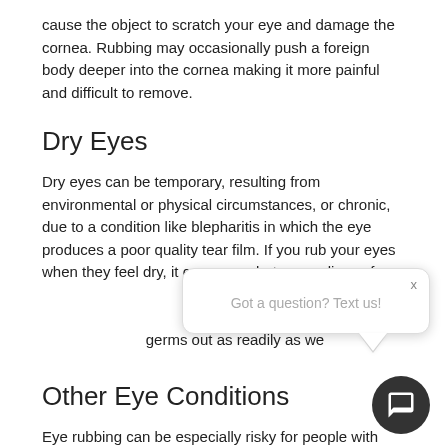cause the object to scratch your eye and damage the cornea. Rubbing may occasionally push a foreign body deeper into the cornea making it more painful and difficult to remove.
Dry Eyes
Dry eyes can be temporary, resulting from environmental or physical circumstances, or chronic, due to a condition like blepharitis in which the eye produces a poor quality tear film. If you rub your eyes when they feel dry, it can exacerbate your discomfort and increase the risk of infection if you don't wash your hands. Also, when your eyes don't have enough tears, they can't flush germs out as readily as we...
Other Eye Conditions
Eye rubbing can be especially risky for people with existing eye conditions such as glaucoma, thin cornea...